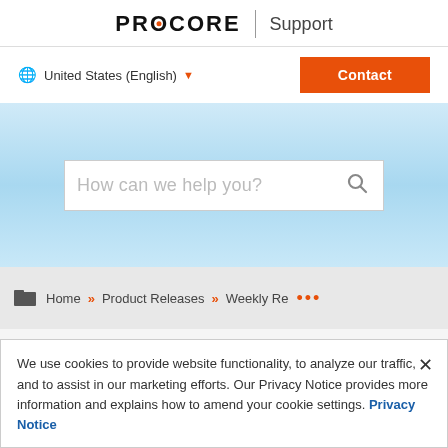PROCORE | Support
United States (English) ▼
Contact
[Figure (screenshot): Search bar with placeholder text 'How can we help you?' on a light blue gradient background]
Home » Product Releases » Weekly Re...
Product release (partial)
We use cookies to provide website functionality, to analyze our traffic, and to assist in our marketing efforts. Our Privacy Notice provides more information and explains how to amend your cookie settings. Privacy Notice